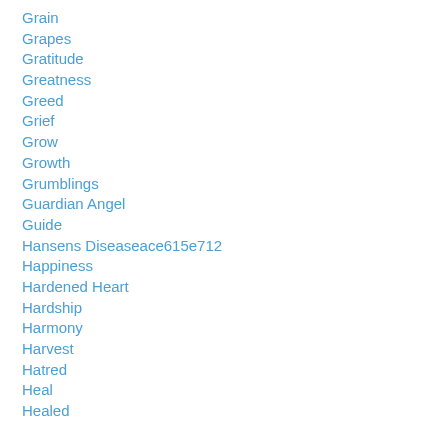Grain
Grapes
Gratitude
Greatness
Greed
Grief
Grow
Growth
Grumblings
Guardian Angel
Guide
Hansens Diseaseace615e712
Happiness
Hardened Heart
Hardship
Harmony
Harvest
Hatred
Heal
Healed